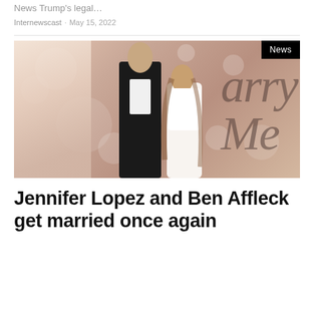News Trump's legal…
Internewscast · May 15, 2022
[Figure (photo): Jennifer Lopez in white dress and Ben Affleck in black suit facing each other at a 'Marry Me' themed event backdrop with bokeh lighting. A bride in wedding dress visible in background on the left. 'News' badge in top right corner.]
Jennifer Lopez and Ben Affleck get married once again